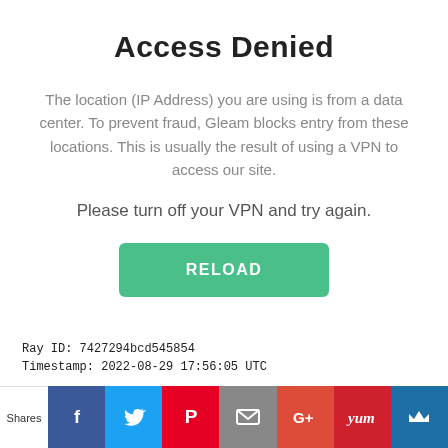Access Denied
The location (IP Address) you are using is from a data center. To prevent fraud, Gleam blocks entry from these locations. This is usually the result of using a VPN to access our site.
Please turn off your VPN and try again.
[Figure (other): RELOAD button — green rounded rectangle with white bold text]
Ray ID: 7427294bcd545854
Timestamp: 2022-08-29 17:56:05 UTC
[Figure (other): Social sharing bar with Shares label, Facebook, Twitter, Pinterest, Email, Google+, Yummly, and crown icon buttons]